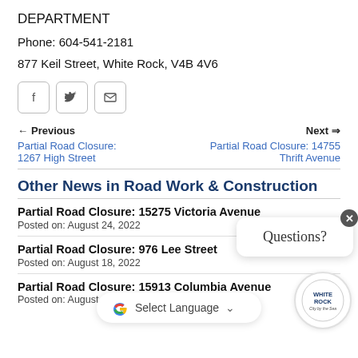DEPARTMENT
Phone: 604-541-2181
877 Keil Street, White Rock, V4B 4V6
[Figure (other): Social media sharing buttons: Facebook, Twitter, Email]
← Previous
Partial Road Closure: 1267 High Street
Next ⇒
Partial Road Closure: 14755 Thrift Avenue
Other News in Road Work & Construction
Partial Road Closure: 15275 Victoria Avenue
Posted on: August 24, 2022
Partial Road Closure: 976 Lee Street
Posted on: August 18, 2022
Partial Road Closure: 15913 Columbia Avenue
Posted on: August 18, 2022
[Figure (other): Questions? chat bubble widget with White Rock logo badge]
[Figure (other): Google Translate Select Language widget]